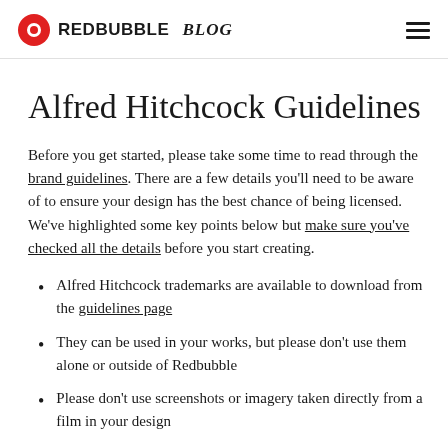REDBUBBLE BLOG
Alfred Hitchcock Guidelines
Before you get started, please take some time to read through the brand guidelines. There are a few details you'll need to be aware of to ensure your design has the best chance of being licensed. We've highlighted some key points below but make sure you've checked all the details before you start creating.
Alfred Hitchcock trademarks are available to download from the guidelines page
They can be used in your works, but please don't use them alone or outside of Redbubble
Please don't use screenshots or imagery taken directly from a film in your design
Don't throw product to design on every side